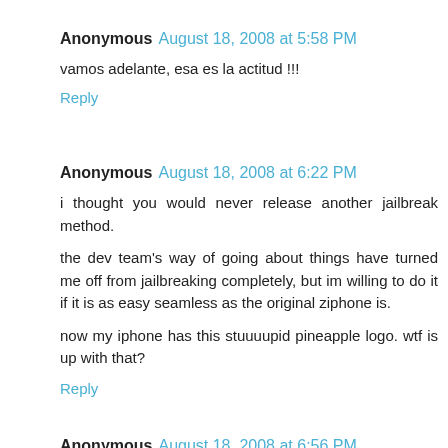Anonymous August 18, 2008 at 5:58 PM
vamos adelante, esa es la actitud !!!
Reply
Anonymous August 18, 2008 at 6:22 PM
i thought you would never release another jailbreak method.
the dev team's way of going about things have turned me off from jailbreaking completely, but im willing to do it if it is as easy seamless as the original ziphone is.
now my iphone has this stuuuupid pineapple logo. wtf is up with that?
Reply
Anonymous August 18, 2008 at 6:56 PM